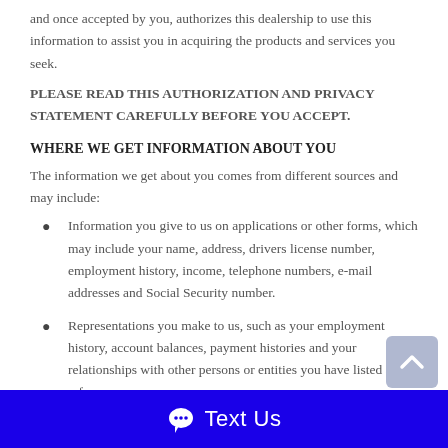and once accepted by you, authorizes this dealership to use this information to assist you in acquiring the products and services you seek.
PLEASE READ THIS AUTHORIZATION AND PRIVACY STATEMENT CAREFULLY BEFORE YOU ACCEPT.
WHERE WE GET INFORMATION ABOUT YOU
The information we get about you comes from different sources and may include:
Information you give to us on applications or other forms, which may include your name, address, drivers license number, employment history, income, telephone numbers, e-mail addresses and Social Security number.
Representations you make to us, such as your employment history, account balances, payment histories and your relationships with other persons or entities you have listed as references.
Text Us